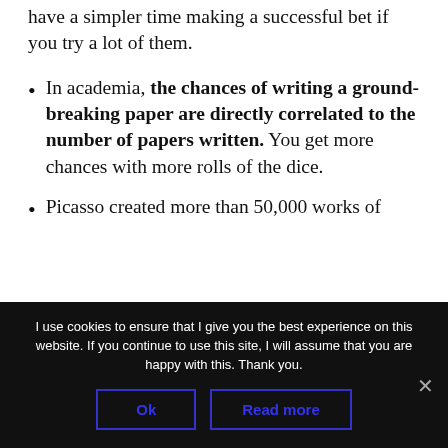have a simpler time making a successful bet if you try a lot of them.
In academia, the chances of writing a ground-breaking paper are directly correlated to the number of papers written. You get more chances with more rolls of the dice.
Picasso created more than 50,000 works of
I use cookies to ensure that I give you the best experience on this website. If you continue to use this site, I will assume that you are happy with this. Thank you.
Ok
Read more